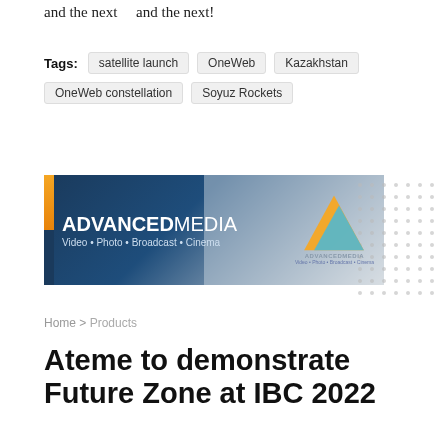and the next    and the next!
Tags: satellite launch  OneWeb  Kazakhstan  OneWeb constellation  Soyuz Rockets
[Figure (advertisement): Advanced Media banner advertisement. Dark navy blue background with gold/orange left stripe accent. Text reads 'ADVANCEDMEDIA Video • Photo • Broadcast • Cinema' with a triangular logo on the right side. Dotted pattern extends to the right of the banner.]
Home > Products
Ateme to demonstrate Future Zone at IBC 2022